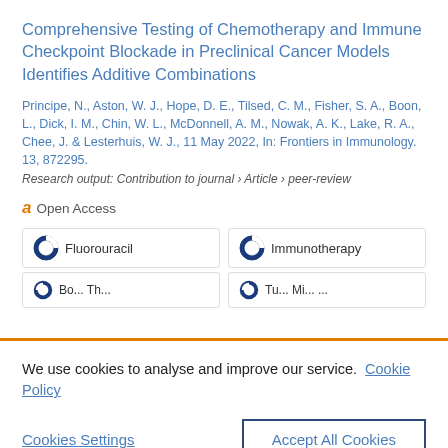Comprehensive Testing of Chemotherapy and Immune Checkpoint Blockade in Preclinical Cancer Models Identifies Additive Combinations
Principe, N., Aston, W. J., Hope, D. E., Tilsed, C. M., Fisher, S. A., Boon, L., Dick, I. M., Chin, W. L., McDonnell, A. M., Nowak, A. K., Lake, R. A., Chee, J. & Lesterhuis, W. J., 11 May 2022, In: Frontiers in Immunology. 13, 872295.
Research output: Contribution to journal › Article › peer-review
Open Access
Fluorouracil
Immunotherapy
We use cookies to analyse and improve our service. Cookie Policy
Cookies Settings
Accept All Cookies